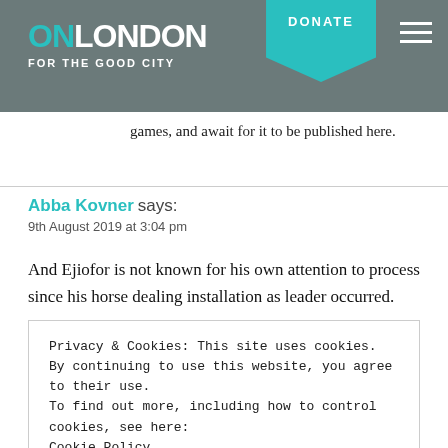[Figure (screenshot): OnLondon website header with logo showing 'ON' in teal and 'LONDON' in white, tagline 'FOR THE GOOD CITY', a teal DONATE button, and hamburger menu icon on a dark city background]
games, and await for it to be published here.
Abba Kovner says:
9th August 2019 at 3:04 pm
And Ejiofor is not known for his own attention to process since his horse dealing installation as leader occurred.
REPLY
Privacy & Cookies: This site uses cookies. By continuing to use this website, you agree to their use.
To find out more, including how to control cookies, see here:
Cookie Policy
Close and accept
Comment *